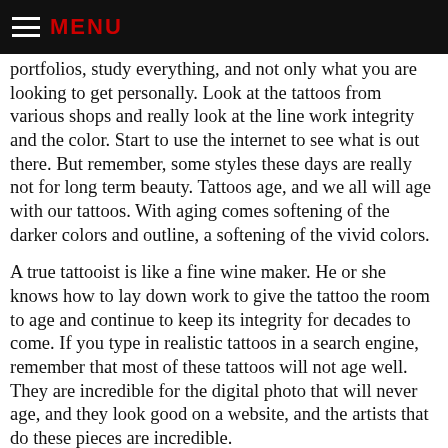MENU
portfolios, study everything, and not only what you are looking to get personally. Look at the tattoos from various shops and really look at the line work integrity and the color. Start to use the internet to see what is out there. But remember, some styles these days are really not for long term beauty. Tattoos age, and we all will age with our tattoos. With aging comes softening of the darker colors and outline, a softening of the vivid colors.
A true tattooist is like a fine wine maker. He or she knows how to lay down work to give the tattoo the room to age and continue to keep its integrity for decades to come. If you type in realistic tattoos in a search engine, remember that most of these tattoos will not age well. They are incredible for the digital photo that will never age, and they look good on a website, and the artists that do these pieces are incredible.